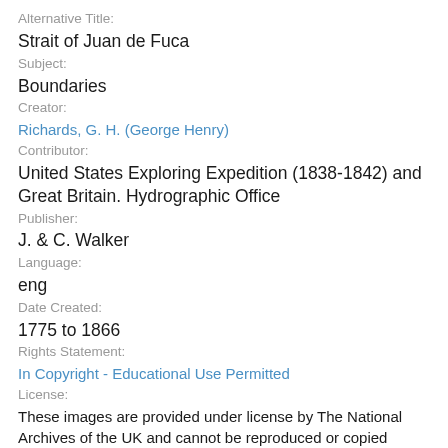Alternative Title:
Strait of Juan de Fuca
Subject:
Boundaries
Creator:
Richards, G. H. (George Henry)
Contributor:
United States Exploring Expedition (1838-1842) and Great Britain. Hydrographic Office
Publisher:
J. & C. Walker
Language:
eng
Date Created:
1775 to 1866
Rights Statement:
In Copyright - Educational Use Permitted
License:
These images are provided under license by The National Archives of the UK and cannot be reproduced or copied without their permission. To purchase high-resolution tiff files of these maps for publication, contact: image...